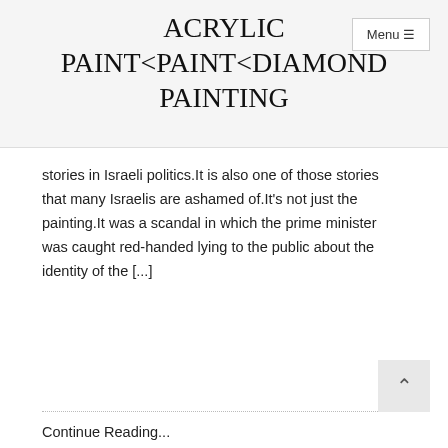ACRYLIC PAINT<PAINT<DIAMOND PAINTING
stories in Israeli politics.It is also one of those stories that many Israelis are ashamed of.It’s not just the painting.It was a scandal in which the prime minister was caught red-handed lying to the public about the identity of the [...]
Continue Reading...